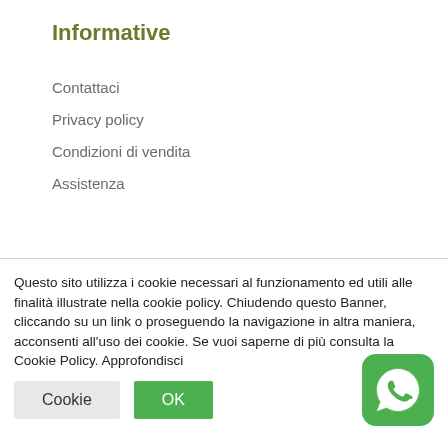Informative
Contattaci
Privacy policy
Condizioni di vendita
Assistenza
Il mio account
Questo sito utilizza i cookie necessari al funzionamento ed utili alle finalità illustrate nella cookie policy. Chiudendo questo Banner, cliccando su un link o proseguendo la navigazione in altra maniera, acconsenti all'uso dei cookie. Se vuoi saperne di più consulta la Cookie Policy. Approfondisci
[Figure (logo): WhatsApp logo icon (green rounded square with white phone handset)]
Cookie   OK